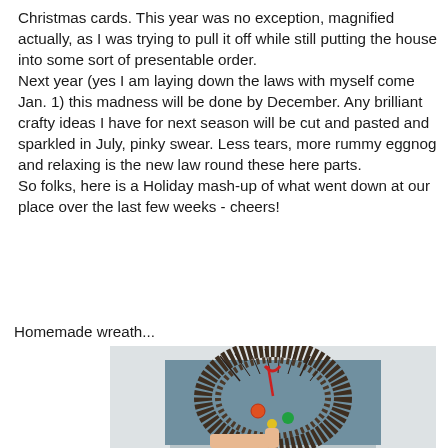Christmas cards. This year was no exception, magnified actually, as I was trying to pull it off while still putting the house into some sort of presentable order.
Next year (yes I am laying down the laws with myself come Jan. 1) this madness will be done by December. Any brilliant crafty ideas I have for next season will be cut and pasted and sparkled in July, pinky swear. Less tears, more rummy eggnog and relaxing is the new law round these here parts.
So folks, here is a Holiday mash-up of what went down at our place over the last few weeks - cheers!
Homemade wreath...
[Figure (photo): A homemade wreath made of twigs and branches hanging on a white door or wall, decorated with a red ribbon and colorful ornaments]